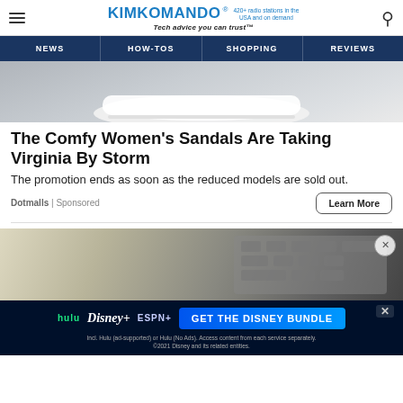KimKomando® — Tech advice you can trust™ — 420+ radio stations in the USA and on demand
NEWS | HOW-TOS | SHOPPING | REVIEWS
[Figure (photo): Close-up photo of a white women's sandal/shoe sole on dark background]
The Comfy Women's Sandals Are Taking Virginia By Storm
The promotion ends as soon as the reduced models are sold out.
Dotmalls | Sponsored
[Figure (photo): Photo of a desk with keyboard and other items in background]
[Figure (screenshot): Disney Bundle advertisement: hulu, Disney+, ESPN+ — GET THE DISNEY BUNDLE. Incl. Hulu (ad-supported) or Hulu (No Ads). Access content from each service separately. ©2021 Disney and its related entities.]